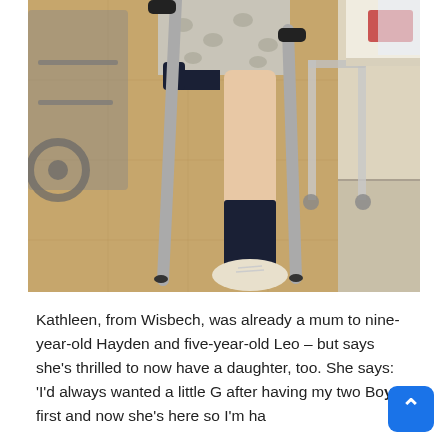[Figure (photo): A person using forearm crutches walking on a light wood floor. They are wearing patterned shorts, a dark knee-high sock on one leg, and a white sneaker. A wheelchair is visible on the left, and a white wall/counter is on the right.]
Kathleen, from Wisbech, was already a mum to nine-year-old Hayden and five-year-old Leo – but says she's thrilled to now have a daughter, too. She says: 'I'd always wanted a little Girl after having my two Boys first and now she's here so I'm happy about it. There's always someone to share into suite and about f